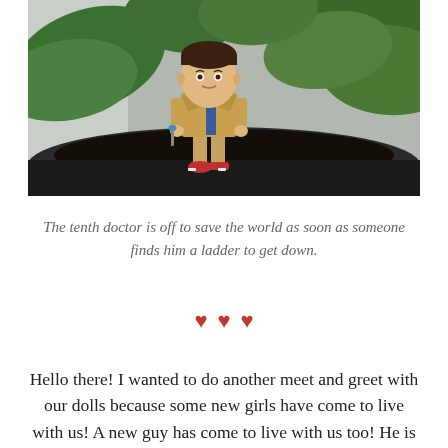[Figure (photo): Close-up photo of a Funko Pop Doctor Who Tenth Doctor vinyl figure perched on the edge of a dark plant pot, with green leaves visible in the background. The figure wears a tan coat over a blue suit with red Converse sneakers, and holds a sonic screwdriver.]
The tenth doctor is off to save the world as soon as someone finds him a ladder to get down.
❤ ❤ ❤
Hello there! I wanted to do another meet and greet with our dolls because some new girls have come to live with us! A new guy has come to live with us too! He is the tenth doctor! Any Doctor Who fans